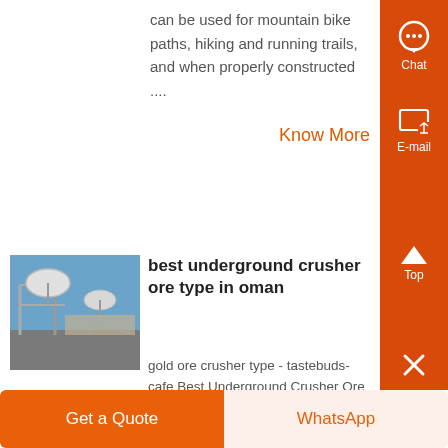can be used for mountain bike paths, hiking and running trails, and when properly constructed ....
Know More
[Figure (photo): Photo showing satellite dishes and industrial equipment on a rooftop or scaffold structure against a blue sky.]
best underground crusher ore type in oman
gold ore crusher type - tastebuds-cafe Best Underground Crusher Ore Type In Oman testrigin type of gold crusher for manganese ore mining type of gold crusher for
Get a Quote
WhatsApp